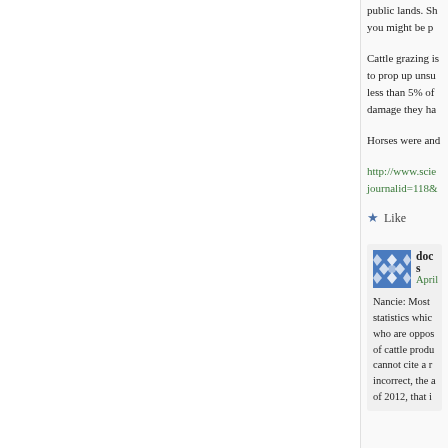public lands. Sh... you might be p...
Cattle grazing is... to prop up unsu... less than 5% of... damage they ha...
Horses were and...
http://www.scie... journalid=118&...
Like
doc s
April
Nancie: Most... statistics whic... who are oppos... of cattle produ... cannot cite a r... incorrect, the a... of 2012, that i...